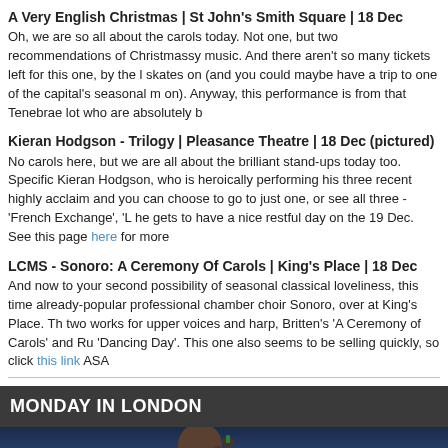A Very English Christmas | St John's Smith Square | 18 Dec
Oh, we are so all about the carols today. Not one, but two recommendations of Christmassy music. And there aren't so many tickets left for this one, by the looks of it, so skates on (and you could maybe have a trip to one of the capital's seasonal markets while you're on). Anyway, this performance is from that Tenebrae lot who are absolutely b
Kieran Hodgson - Trilogy | Pleasance Theatre | 18 Dec (pictured)
No carols here, but we are all about the brilliant stand-ups today too. Specifically Kieran Hodgson, who is heroically performing his three recent highly acclaimed shows, and you can choose to go to just one, or see all three - 'French Exchange', 'L... he gets to have a nice restful day on the 19 Dec. See this page here for more
LCMS - Sonoro: A Ceremony Of Carols | King's Place | 18 Dec
And now to your second possibility of seasonal classical loveliness, this time already-popular professional chamber choir Sonoro, over at King's Place. Th... two works for upper voices and harp, Britten's 'A Ceremony of Carols' and Ru... 'Dancing Day'. This one also seems to be selling quickly, so click this link ASA
MONDAY IN LONDON
[Figure (photo): A man in front of a Las Vegas-style cityscape at dusk/night, holding something small up near his face. A neon sign is partially visible on the right side.]